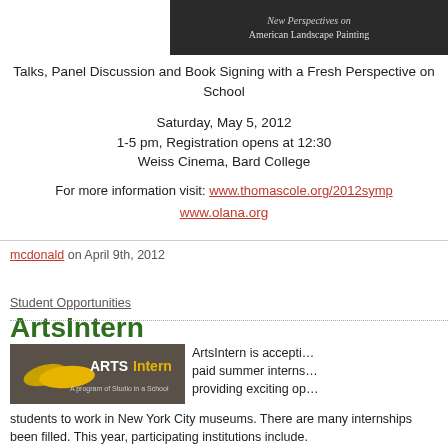[Figure (photo): Book cover or banner image with text 'New Perspectives on American Landscape Painting' on dark background]
Talks, Panel Discussion and Book Signing with a Fresh Perspective on School
Saturday, May 5, 2012
1-5 pm, Registration opens at 12:30
Weiss Cinema, Bard College
For more information visit: www.thomascole.org/2012symp
www.olana.org
mcdonald on April 9th, 2012
Student Opportunities
ArtsIntern
[Figure (logo): ARTS Intern logo - A program of Studio in a School, yellow leaf graphic on dark brown/gray background]
ArtsIntern is accepting paid summer internships providing exciting opportunities for students to work in New York City museums. There are many internships been filled. This year, participating institutions include.